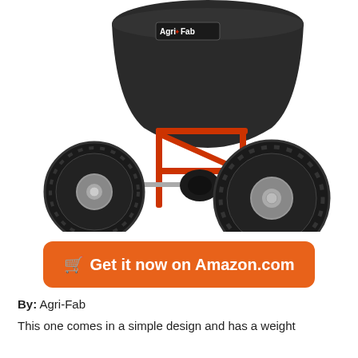[Figure (photo): Photo of an Agri-Fab broadcast spreader with large black hopper, red metal frame, and two large pneumatic wheels with silver hubs. The Agri-Fab logo is visible on the hopper.]
🛒 Get it now on Amazon.com
By: Agri-Fab
This one comes in a simple design and has a weight